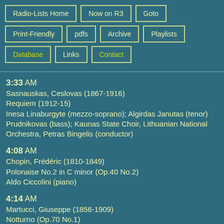Radio-Lists Home
Now on R3
Goto
Print-Friendly
pdfs
Archive
Playlists
Database
Links
Contact
3:33 AM
Sasnauskas, Ceslovas (1867-1916)
Requiem (1912-15)
Inesa Linaburgyte (mezzo-soprano); Algirdas Janutas (tenor)
Prudnikovas (bass); Kaunas State Choir, Lithuanian National Orchestra, Petras Bingelis (conductor)
4:08 AM
Chopin, Frédéric (1810-1849)
Polonaise No.2 in C minor (Op.40 No.2)
Aldo Ciccolini (piano)
4:14 AM
Martucci, Giuseppe (1856-1909)
Notturno (Op.70 No.1)